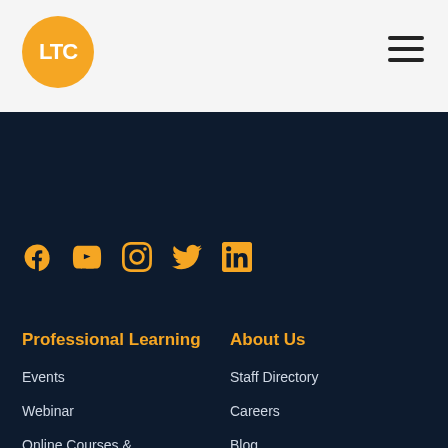[Figure (logo): LTC orange circular logo with white text 'LTC']
[Figure (illustration): Hamburger menu icon (three horizontal lines)]
[Figure (illustration): Social media icons row: Facebook, YouTube, Instagram, Twitter, LinkedIn — all in orange]
Professional Learning
About Us
Events
Staff Directory
Webinar
Careers
Online Courses & Microcredentials
Blog
IETC
Partnerships
Illinois EdTech Networks
FAQ